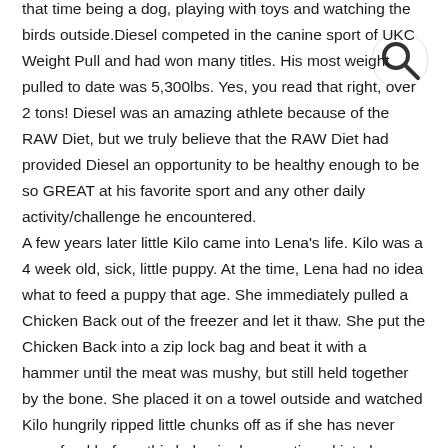that time being a dog, playing with toys and watching the birds outside.Diesel competed in the canine sport of UKC Weight Pull and had won many titles. His most weight pulled to date was 5,300lbs. Yes, you read that right, over 2 tons! Diesel was an amazing athlete because of the RAW Diet, but we truly believe that the RAW Diet had provided Diesel an opportunity to be healthy enough to be so GREAT at his favorite sport and any other daily activity/challenge he encountered.
A few years later little Kilo came into Lena's life. Kilo was a 4 week old, sick, little puppy. At the time, Lena had no idea what to feed a puppy that age. She immediately pulled a Chicken Back out of the freezer and let it thaw. She put the Chicken Back into a zip lock bag and beat it with a hammer until the meat was mushy, but still held together by the bone. She placed it on a towel outside and watched Kilo hungrily ripped little chunks off as if she has never seen food before, this behavior has continued into her adult life.